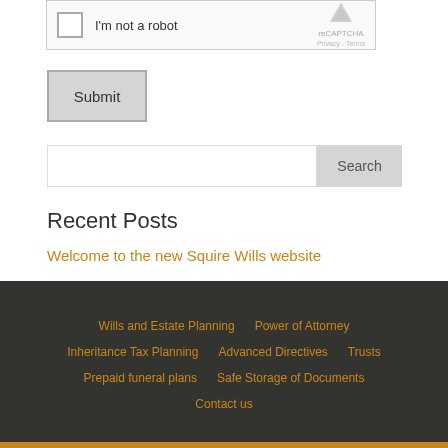[Figure (screenshot): reCAPTCHA widget with checkbox labeled 'I'm not a robot' and reCAPTCHA branding with Privacy and Terms links]
Submit
Search
Recent Posts
Welcome to the new Squire Wills website
Wills and Estate Planning | Power of Attorney | Inheritance Tax Planning | Advanced Directives | Trusts | Prepaid funeral plans | Safe Storage of Documents | Contact us